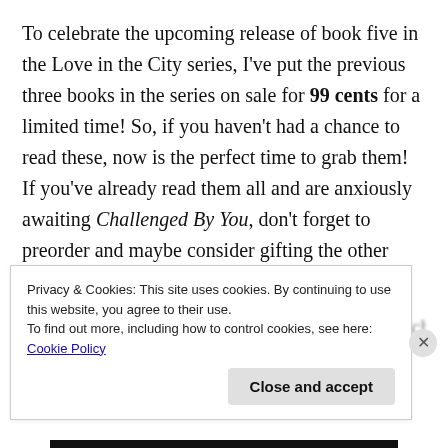To celebrate the upcoming release of book five in the Love in the City series, I've put the previous three books in the series on sale for 99 cents for a limited time! So, if you haven't had a chance to read these, now is the perfect time to grab them! If you've already read them all and are anxiously awaiting Challenged By You, don't forget to preorder and maybe consider gifting the other books to a friend, family member, fellow bookworm, and/or co-worker who hasn't met the Love in the City gang yet! With school just around the corner, I know many readers are eager for their kids to go back to school so...
Privacy & Cookies: This site uses cookies. By continuing to use this website, you agree to their use.
To find out more, including how to control cookies, see here: Cookie Policy